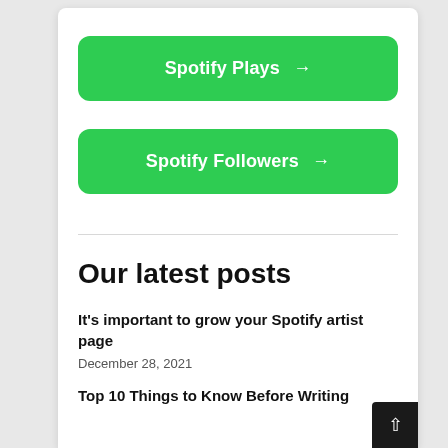[Figure (other): Green button labeled 'Spotify Plays →']
[Figure (other): Green button labeled 'Spotify Followers →']
Our latest posts
It's important to grow your Spotify artist page
December 28, 2021
Top 10 Things to Know Before Writing